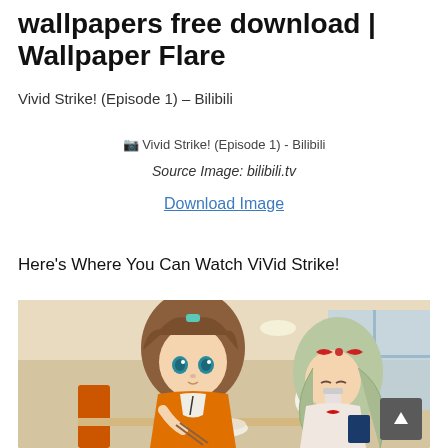wallpapers free download | Wallpaper Flare
Vivid Strike! (Episode 1) – Bilibili
[Figure (illustration): Broken image placeholder: Vivid Strike! (Episode 1) - Bilibili]
Source Image: bilibili.tv
Download Image
Here's Where You Can Watch ViVid Strike!
[Figure (screenshot): Anime screenshot from ViVid Strike! showing two anime girls sitting at a table. One girl with short brown hair wearing an orange outfit is holding a bowl and chopsticks. The other girl has long silver-green twin tails and a red bow, and appears to be drinking. Background shows a bright indoor cafeteria setting.]